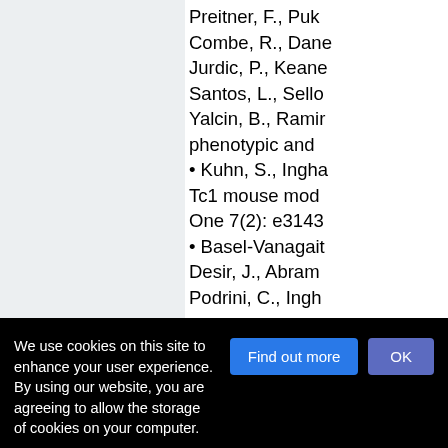Preitner, F., Puk... Combe, R., Dane... Jurdic, P., Keane... Santos, L., Sello... Yalcin, B., Ramir... phenotypic and... • Kuhn, S., Ingha... Tc1 mouse mod... One 7(2): e3143... • Basel-Vanagait... Desir, J., Abram... Podrini, C., Ingh...
We use cookies on this site to enhance your user experience. By using our website, you are agreeing to allow the storage of cookies on your computer.